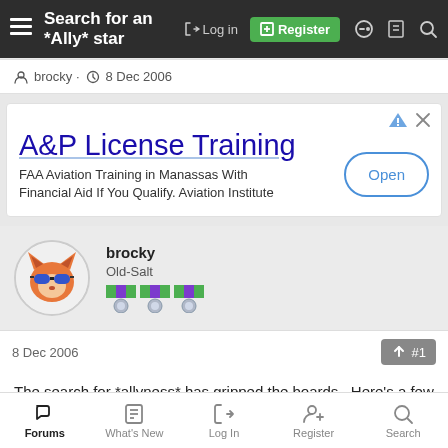Search for an *Ally* star
brocky · 8 Dec 2006
[Figure (other): Advertisement: A&P License Training. FAA Aviation Training in Manassas With Financial Aid If You Qualify. Aviation Institute. Open button.]
brocky
Old-Salt
8 Dec 2006   #1
The search for *allyness* has gripped the boards...Here's a few to
Forums  What's New  Log In  Register  Search